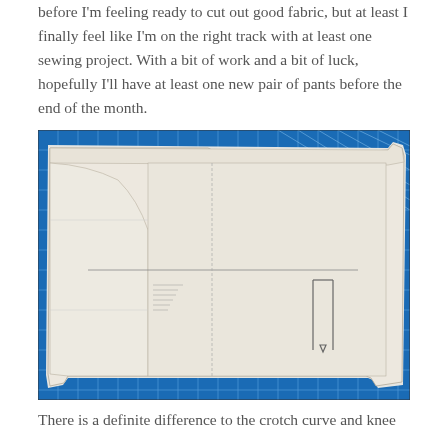before I'm feeling ready to cut out good fabric, but at least I finally feel like I'm on the right track with at least one sewing project. With a bit of work and a bit of luck, hopefully I'll have at least one new pair of pants before the end of the month.
[Figure (photo): A sewing pattern piece laid out on a blue cutting mat with grid lines. The pattern is made of white tissue or interfacing material with markings and lines drawn on it. The blue mat has white grid lines and ruler markings visible around the pattern.]
There is a definite difference to the crotch curve and knee